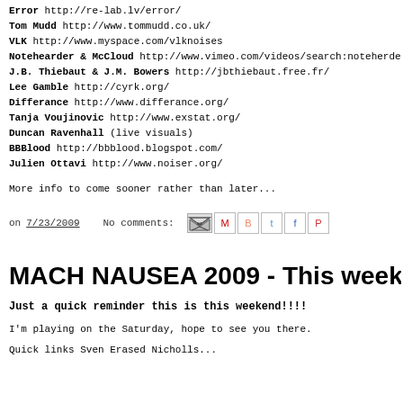Error http://re-lab.lv/error/
Tom Mudd http://www.tommudd.co.uk/
VLK http://www.myspace.com/vlknoises
Notehearder & McCloud http://www.vimeo.com/videos/search:noteherde
J.B. Thiebaut & J.M. Bowers http://jbthiebaut.free.fr/
Lee Gamble http://cyrk.org/
Differance http://www.differance.org/
Tanja Voujinovic http://www.exstat.org/
Duncan Ravenhall (live visuals)
BBBlood http://bbblood.blogspot.com/
Julien Ottavi http://www.noiser.org/
More info to come sooner rather than later...
on 7/23/2009  No comments:
MACH NAUSEA 2009 - This weeken
Just a quick reminder this is this weekend!!!!
I'm playing on the Saturday, hope to see you there.
Quick links Sven Erased Nicholls...